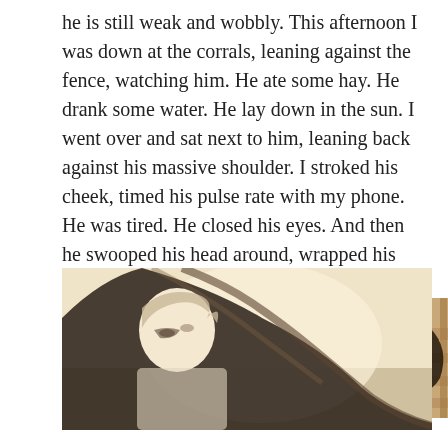he is still weak and wobbly. This afternoon I was down at the corrals, leaning against the fence, watching him. He ate some hay. He drank some water. He lay down in the sun. I went over and sat next to him, leaning back against his massive shoulder. I stroked his cheek, timed his pulse rate with my phone. He was tired. He closed his eyes. And then he swooped his head around, wrapped his neck around my body, laid his head on my chest, and fell asleep.
[Figure (photo): Two overlapping photographs showing a person with a horse. The main/foreground photo shows a person leaning against or being nuzzled by a dark horse with a flowing mane, taken in warm vintage tones. A second photo partially visible behind shows wooden fence rails and the horse's dark fur/mane.]